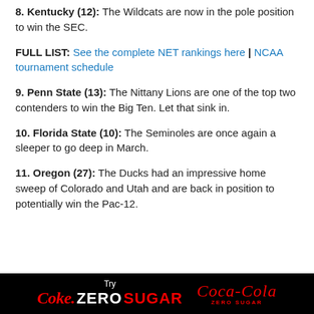8. Kentucky (12): The Wildcats are now in the pole position to win the SEC.
FULL LIST: See the complete NET rankings here | NCAA tournament schedule
9. Penn State (13): The Nittany Lions are one of the top two contenders to win the Big Ten. Let that sink in.
10. Florida State (10): The Seminoles are once again a sleeper to go deep in March.
11. Oregon (27): The Ducks had an impressive home sweep of Colorado and Utah and are back in position to potentially win the Pac-12.
[Figure (other): Coca-Cola Zero Sugar advertisement banner on black background]